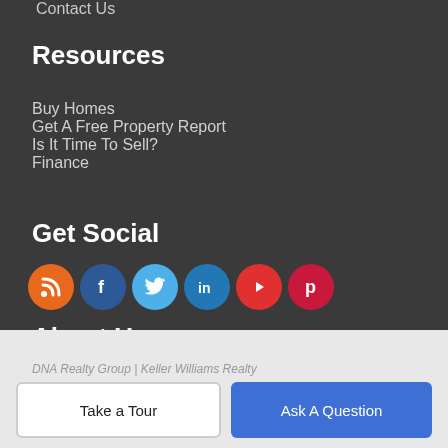Contact Us
Resources
Buy Homes
Get A Free Property Report
Is It Time To Sell?
Finance
Get Social
[Figure (infographic): Row of social media icons: RSS (orange), Facebook (blue), Twitter (light blue), LinkedIn (blue), YouTube (red), Pinterest (red)]
About Us
DNA Realty Group is Greater Boston's most innovative real estate team.
DNA Realty Group | Keller Williams Realty
Take a Tour
Ask A Question